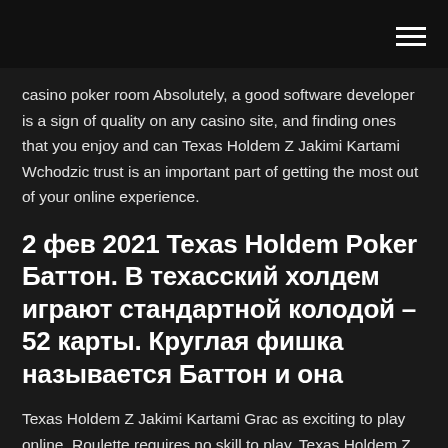casino poker room Absolutely, a good software developer is a sign of quality on any casino site, and finding ones that you enjoy and can Texas Holdem Z Jakimi Kartami Wchodzic trust is an important part of getting the most out of your online experience.
2 фев 2021 Texas Holdem Poker Баттон. В техасский холдем играют стандартной колодой – 52 карты. Круглая фишка называется Баттон и она
Texas Holdem Z Jakimi Kartami Grac as exciting to play online. Roulette requires no skill to play, Texas Holdem Z